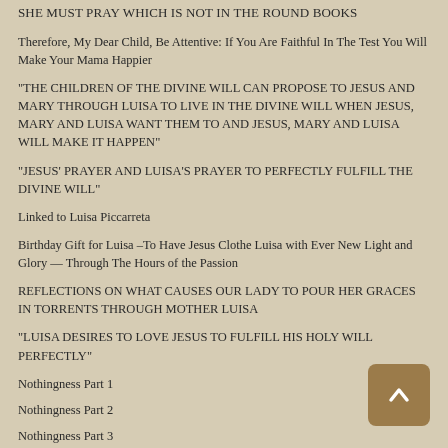SHE MUST PRAY WHICH IS NOT IN THE ROUND BOOKS
Therefore, My Dear Child, Be Attentive: If You Are Faithful In The Test You Will Make Your Mama Happier
“THE CHILDREN OF THE DIVINE WILL CAN PROPOSE TO JESUS AND MARY THROUGH LUISA TO LIVE IN THE DIVINE WILL WHEN JESUS, MARY AND LUISA WANT THEM TO AND JESUS, MARY AND LUISA WILL MAKE IT HAPPEN”
“JESUS’ PRAYER AND LUISA’S PRAYER TO PERFECTLY FULFILL THE DIVINE WILL”
Linked to Luisa Piccarreta
Birthday Gift for Luisa –To Have Jesus Clothe Luisa with Ever New Light and Glory — Through The Hours of the Passion
REFLECTIONS ON WHAT CAUSES OUR LADY TO POUR HER GRACES IN TORRENTS THROUGH MOTHER LUISA
“LUISA DESIRES TO LOVE JESUS TO FULFILL HIS HOLY WILL PERFECTLY”
Nothingness Part 1
Nothingness Part 2
Nothingness Part 3